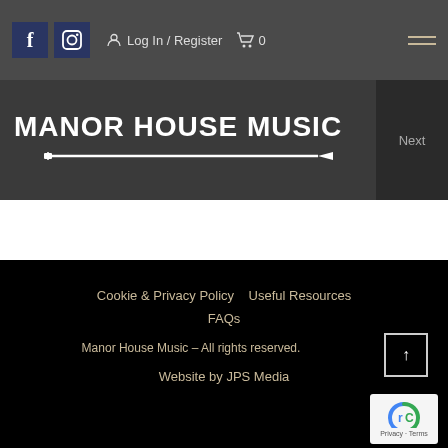f [facebook icon] [instagram icon] Log In / Register [cart] 0 [menu]
MANOR HOUSE MUSIC
Next
Cookie & Privacy Policy   Useful Resources
FAQs
Manor House Music – All rights reserved.
Website by JPS Media